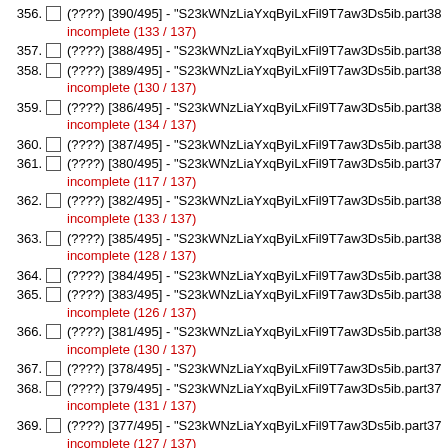356. (????) [390/495] - "S23kWNzLiaYxqByiLxFil9T7aw3Ds5ib.part38 incomplete (133 / 137)
357. (????) [388/495] - "S23kWNzLiaYxqByiLxFil9T7aw3Ds5ib.part38
358. (????) [389/495] - "S23kWNzLiaYxqByiLxFil9T7aw3Ds5ib.part38 incomplete (130 / 137)
359. (????) [386/495] - "S23kWNzLiaYxqByiLxFil9T7aw3Ds5ib.part38 incomplete (134 / 137)
360. (????) [387/495] - "S23kWNzLiaYxqByiLxFil9T7aw3Ds5ib.part38
361. (????) [380/495] - "S23kWNzLiaYxqByiLxFil9T7aw3Ds5ib.part37 incomplete (117 / 137)
362. (????) [382/495] - "S23kWNzLiaYxqByiLxFil9T7aw3Ds5ib.part38 incomplete (133 / 137)
363. (????) [385/495] - "S23kWNzLiaYxqByiLxFil9T7aw3Ds5ib.part38 incomplete (128 / 137)
364. (????) [384/495] - "S23kWNzLiaYxqByiLxFil9T7aw3Ds5ib.part38
365. (????) [383/495] - "S23kWNzLiaYxqByiLxFil9T7aw3Ds5ib.part38 incomplete (126 / 137)
366. (????) [381/495] - "S23kWNzLiaYxqByiLxFil9T7aw3Ds5ib.part38 incomplete (130 / 137)
367. (????) [378/495] - "S23kWNzLiaYxqByiLxFil9T7aw3Ds5ib.part37
368. (????) [379/495] - "S23kWNzLiaYxqByiLxFil9T7aw3Ds5ib.part37 incomplete (131 / 137)
369. (????) [377/495] - "S23kWNzLiaYxqByiLxFil9T7aw3Ds5ib.part37 incomplete (127 / 137)
370. (????) [376/495] - "S23kWNzLiaYxqByiLxFil9T7aw3Ds5ib.part37 incomplete (118 / 137)
371. (????) [374/495] - "S23kWNzLiaYxqByiLxFil9T7aw3Ds5ib.part37